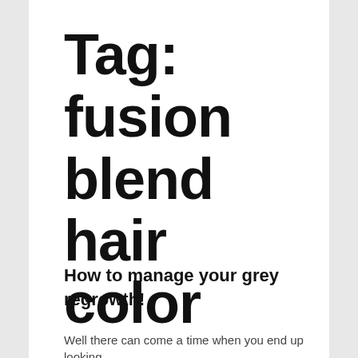Tag: fusion blend hair color
How to manage your grey regrowth!
Well there can come a time when you end up looking